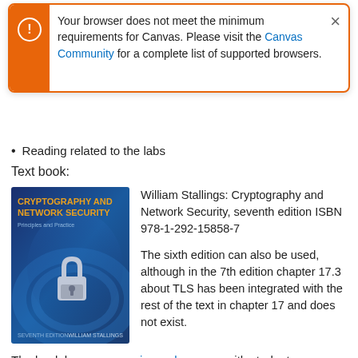[Figure (screenshot): Browser compatibility warning toast notification with orange left bar, exclamation icon, text about Canvas requirements, and a close X button. Text reads: Your browser does not meet the minimum requirements for Canvas. Please visit the Canvas Community for a complete list of supported browsers.]
Reading related to the labs
Text book:
[Figure (photo): Book cover of Cryptography and Network Security: Principles and Practice, Seventh Edition by William Stallings. Blue cover with a padlock graphic.]
William Stallings: Cryptography and Network Security, seventh edition ISBN 978-1-292-15858-7

The sixth edition can also be used, although in the 7th edition chapter 17.3 about TLS has been integrated with the rest of the text in chapter 17 and does not exist.
The book has a companion web page ↗ with student resources and useful links if you want to know more about a subject. There is an errata sheet ↗ for the book that you